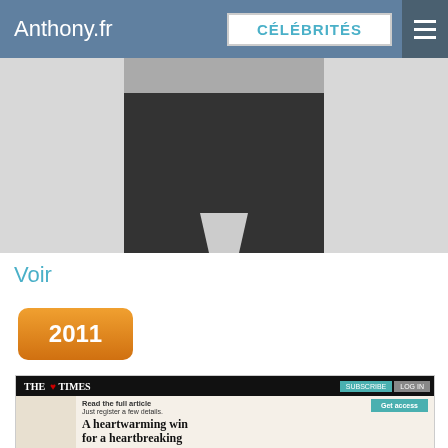Anthony.fr | CÉLÉBRITÉS
[Figure (photo): Black and white photo of a person wearing a dark zip-up sweater over a collared shirt, headless/cropped at neck, against a light background]
Voir
2011
[Figure (screenshot): Screenshot of The Times website article: 'A heartwarming win for a heartbreaking tale' - American author, Anthony Doerr, has scooped this year's [award]. Shows subscribe/log in buttons and a 'Read the full article / Just register a few details' prompt with a Get access button.]